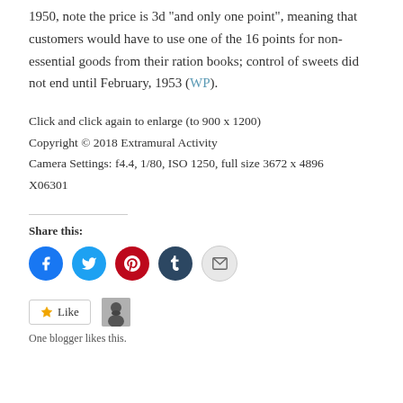1950, note the price is 3d “and only one point”, meaning that customers would have to use one of the 16 points for non-essential goods from their ration books; control of sweets did not end until February, 1953 (WP).
Click and click again to enlarge (to 900 x 1200)
Copyright © 2018 Extramural Activity
Camera Settings: f4.4, 1/80, ISO 1250, full size 3672 x 4896
X06301
Share this:
[Figure (infographic): Row of social share buttons: Facebook (blue circle), Twitter (light blue circle), Pinterest (red circle), Tumblr (dark blue circle), Email (light grey circle)]
[Figure (infographic): Like button with star icon and a blogger avatar thumbnail. Text below reads 'One blogger likes this.']